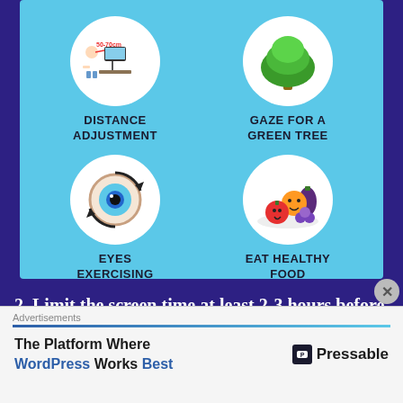[Figure (infographic): Health tips infographic on light blue background with four circular icons in a 2x2 grid. Top-left: person at computer with '50-70cm' distance arrow - DISTANCE ADJUSTMENT. Top-right: green tree - GAZE FOR A GREEN TREE. Bottom-left: eyeball with rotation arrows - EYES EXERCISING. Bottom-right: plate of colorful cartoon fruits/vegetables - EAT HEALTHY FOOD.]
2. Limit the screen time at least 2-3 hours before bedtime. It is essential to use a blue light filter or glasses at night time when working in the
[Figure (screenshot): Advertisement banner: 'Advertisements' label, blue gradient bar, then ad content showing 'The Platform Where WordPress Works Best' with Pressable logo on right.]